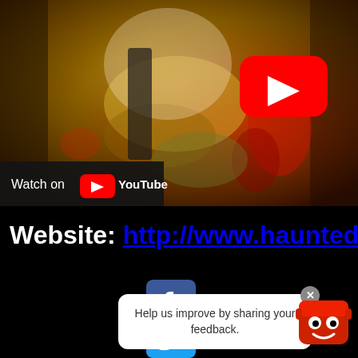[Figure (screenshot): YouTube video thumbnail showing horror/zombie scene with blood and hands. A YouTube play button (red rounded rectangle with white triangle) is visible in the upper right. A 'Watch on YouTube' bar is at the bottom left of the video.]
Website: http://www.hauntedh…
[Figure (logo): Facebook logo icon (blue with white 'f')]
[Figure (infographic): Feedback popup bubble saying 'Help us improve by sharing your feedback.' with a close X button, and a red cartoon mascot to the right.]
[Figure (logo): Twitter logo icon (blue bird)]